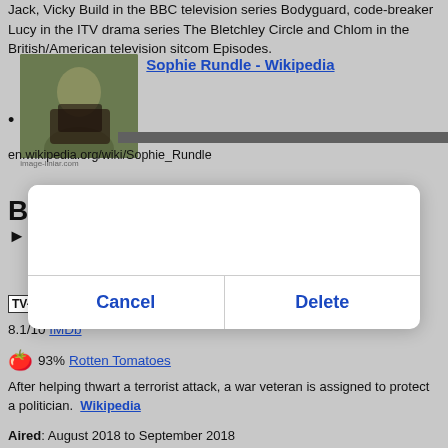Jack, Vicky Build in the BBC television series Bodyguard, code-breaker Lucy in the ITV drama series The Bletchley Circle and Chlom in the British/American television sitcom Episodes.
[Figure (photo): Thumbnail photo of a person outdoors with greenery background]
Sophie Rundle - Wikipedia
en.wikipedia.org/wiki/Sophie_Rundle
Be
Cancel
Delete
TV-MA 2 Seasons · Drama
8.1/10 IMDb
93% Rotten Tomatoes
After helping thwart a terrorist attack, a war veteran is assigned to protect a politician.   Wikipedia
Aired: August 2018 to September 2018